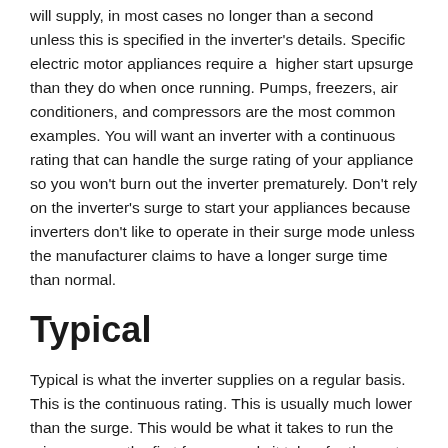will supply, in most cases no longer than a second unless this is specified in the inverter's details. Specific electric motor appliances require a higher start upsurge than they do when once running. Pumps, freezers, air conditioners, and compressors are the most common examples. You will want an inverter with a continuous rating that can handle the surge rating of your appliance so you won't burn out the inverter prematurely. Don't rely on the inverter's surge to start your appliances because inverters don't like to operate in their surge mode unless the manufacturer claims to have a longer surge time than normal.
Typical
Typical is what the inverter supplies on a regular basis. This is the continuous rating. This is usually much lower than the surge. This would be what it takes to run the microwave or the first few seconds it takes for the motor to start up for the